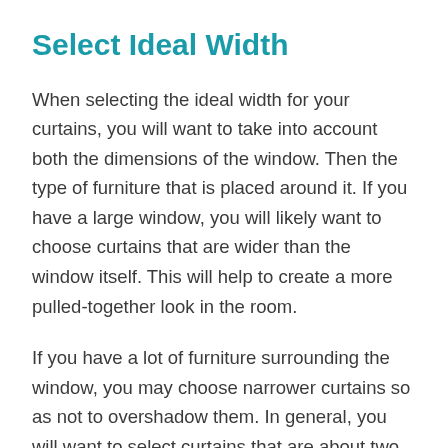Select Ideal Width
When selecting the ideal width for your curtains, you will want to take into account both the dimensions of the window. Then the type of furniture that is placed around it. If you have a large window, you will likely want to choose curtains that are wider than the window itself. This will help to create a more pulled-together look in the room.
If you have a lot of furniture surrounding the window, you may choose narrower curtains so as not to overshadow them. In general, you will want to select curtains that are about two